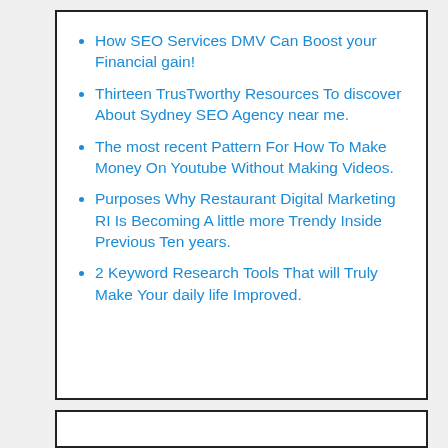How SEO Services DMV Can Boost your Financial gain!
Thirteen TrusTworthy Resources To discover About Sydney SEO Agency near me.
The most recent Pattern For How To Make Money On Youtube Without Making Videos.
Purposes Why Restaurant Digital Marketing RI Is Becoming A little more Trendy Inside Previous Ten years.
2 Keyword Research Tools That will Truly Make Your daily life Improved.